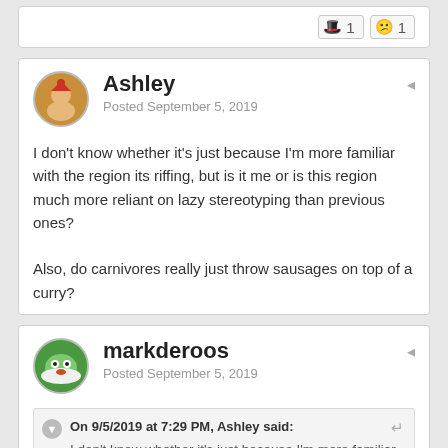[Figure (screenshot): Reaction emoji buttons: red hat emoji with count 1, and sad face emoji with count 1]
Ashley
Posted September 5, 2019
I don't know whether it's just because I'm more familiar with the region its riffing, but is it me or is this region much more reliant on lazy stereotyping than previous ones?

Also, do carnivores really just throw sausages on top of a curry?
markderoos
Posted September 5, 2019
On 9/5/2019 at 7:29 PM, Ashley said:
I don't know whether it's just because I'm more familiar with the region its riffing, but is it me or is this region much more reliant